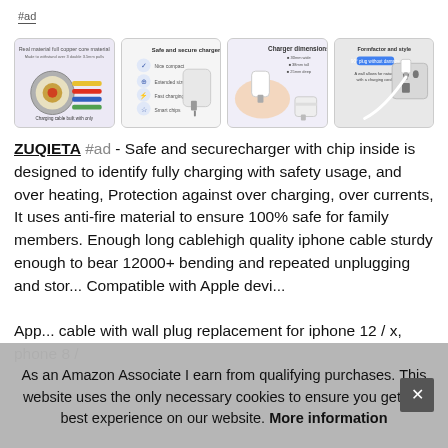#ad
[Figure (photo): Four product images of iPhone charger: 1) Cable cross-section showing internal materials, 2) White wall charger with 'Safe and secure charger' text, 3) Hand holding small white charger with dimensions info, 4) Charger plugged into wall socket]
ZUQIETA #ad - Safe and securecharger with chip inside is designed to identify fully charging with safety usage, and over heating, Protection against over charging, over currents, It uses anti-fire material to ensure 100% safe for family members. Enough long cablehigh quality iphone cable sturdy enough to bear 12000+ bending and repeated unplugging and storing. Compatible withApple devices and more Apple devi...
As an Amazon Associate I earn from qualifying purchases. This website uses the only necessary cookies to ensure you get the best experience on our website. More information
App... cable with wall plug replacement for iphone 12 / x, phone 8 /